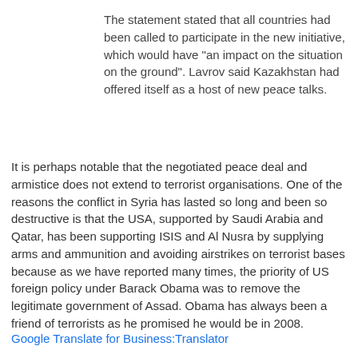The statement stated that all countries had been called to participate in the new initiative, which would have "an impact on the situation on the ground". Lavrov said Kazakhstan had offered itself as a host of new peace talks.
It is perhaps notable that the negotiated peace deal and armistice does not extend to terrorist organisations. One of the reasons the conflict in Syria has lasted so long and been so destructive is that the USA, supported by Saudi Arabia and Qatar, has been supporting ISIS and Al Nusra by supplying arms and ammunition and avoiding airstrikes on terrorist bases because as we have reported many times, the priority of US foreign policy under Barack Obama was to remove the legitimate government of Assad. Obama has always been a friend of terrorists as he promised he would be in 2008.
Google Translate for Business:Translator